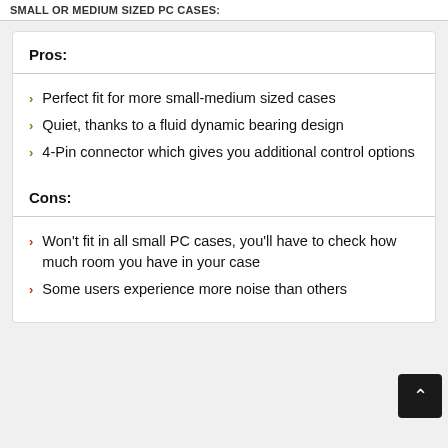SMALL OR MEDIUM SIZED PC CASES:
Pros:
Perfect fit for more small-medium sized cases
Quiet, thanks to a fluid dynamic bearing design
4-Pin connector which gives you additional control options
Cons:
Won't fit in all small PC cases, you'll have to check how much room you have in your case
Some users experience more noise than others